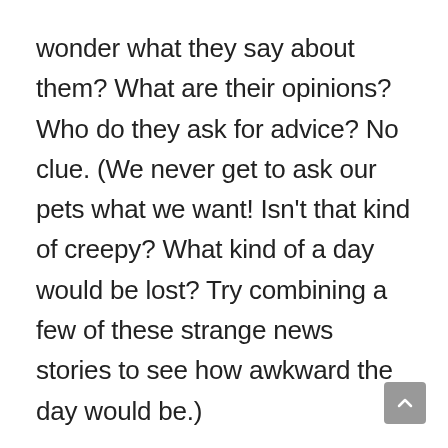wonder what they say about them? What are their opinions? Who do they ask for advice? No clue. (We never get to ask our pets what we want! Isn't that kind of creepy? What kind of a day would be lost? Try combining a few of these strange news stories to see how awkward the day would be.)
I know, I know, these opinions are probably not anything you would expect, but I really do think that having a pet is a good choice for a whole host of reasons.